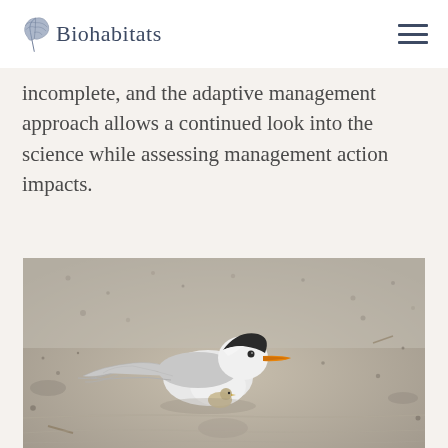Biohabitats
incomplete, and the adaptive management approach allows a continued look into the science while assessing management action impacts.
[Figure (photo): A least tern bird with black cap and orange beak sitting on sandy beach, wings spread slightly, with a small chick visible beneath it.]